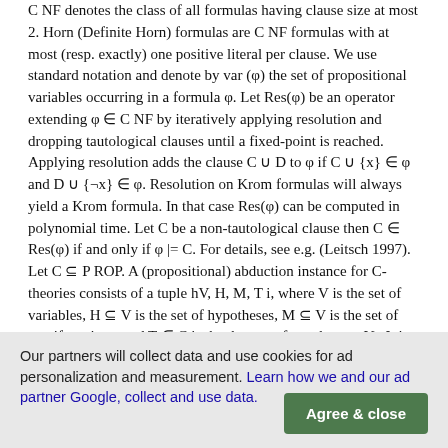C NF denotes the class of all formulas having clause size at most 2. Horn (Definite Horn) formulas are C NF formulas with at most (resp. exactly) one positive literal per clause. We use standard notation and denote by var (φ) the set of propositional variables occurring in a formula φ. Let Res(φ) be an operator extending φ ∈ C NF by iteratively applying resolution and dropping tautological clauses until a fixed-point is reached. Applying resolution adds the clause C ∪ D to φ if C ∪ {x} ∈ φ and D ∪ {¬x} ∈ φ. Resolution on Krom formulas will always yield a Krom formula. In that case Res(φ) can be computed in polynomial time. Let C be a non-tautological clause then C ∈ Res(φ) if and only if φ |= C. For details, see e.g. (Leitsch 1997). Let C ⊆ P ROP. A (propositional) abduction instance for C-theories consists of a tuple hV, H, M, T i, where V is the set of variables, H ⊆ V is the set of hypotheses, M ⊆ V is the set of manifestations, and T ∈ C is the theory, a formula over V . It is required that M ∩ H = ∅. Definition 1. Let P = hV, H, M, T i be an abduction instance. S ⊆ H is a solution (or explanation) to P if T ∪ S is consistent and T ∪ S |= M (entailment). Sol(P) denotes the set of all solutions to P. Let C
Our partners will collect data and use cookies for ad personalization and measurement. Learn how we and our ad partner Google, collect and use data.
Agree & close